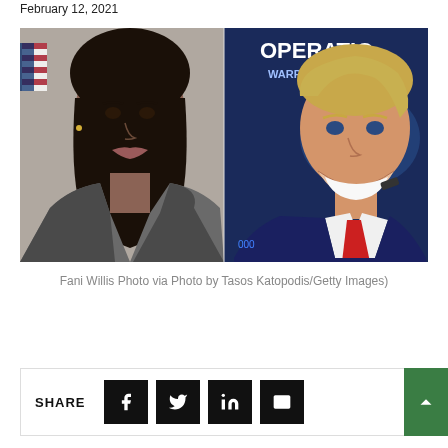February 12, 2021
[Figure (photo): Side-by-side composite photo: on the left, Fani Willis in a professional headshot with a US flag in the background; on the right, Donald Trump holding a phone at what appears to be an event with 'OPERATION WARP' text visible in the background.]
Fani Willis Photo via Photo by Tasos Katopodis/Getty Images)
SHARE